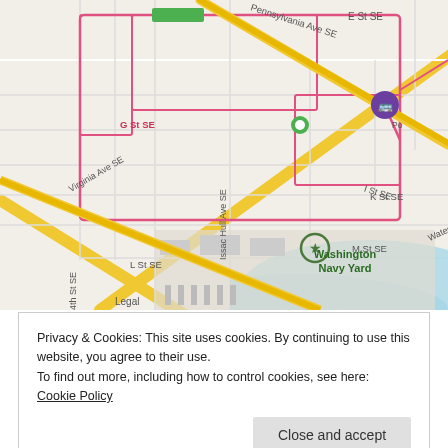[Figure (map): Street map showing Washington DC area including Washington Navy Yard, Pennsylvania Ave SE, Virginia Ave SE, G St SE, I St SE, K St SE, L St SE, M St SE, Water St SE, Anacostia river, 4th St SE, 10th St SE, 11th St, 12th St SE, Issac Hull Ave SE, with a pink route outline and yellow highlighted roads, metro icon, and green location marker.]
Privacy & Cookies: This site uses cookies. By continuing to use this website, you agree to their use.
To find out more, including how to control cookies, see here: Cookie Policy
Close and accept
The rest of Saturday, we spent spectating a roller